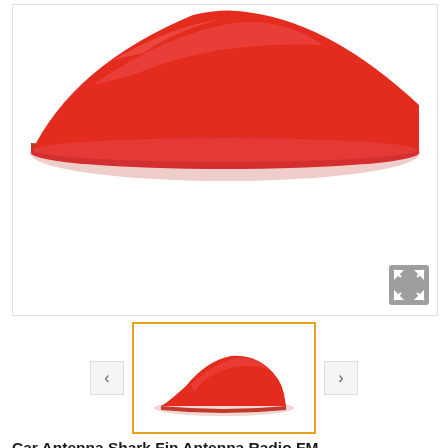[Figure (photo): Large main product image of a red car shark fin antenna viewed from above/side, showing a glossy red conical/fin shape on white background. An expand icon (four arrows) appears in the bottom-right corner.]
[Figure (photo): Thumbnail image of the red shark fin car antenna, shown as a side profile view on white background, inside an orange-bordered selection box.]
Car Antenna Shark Fin Antenna Radio FM Signal Aerials Red